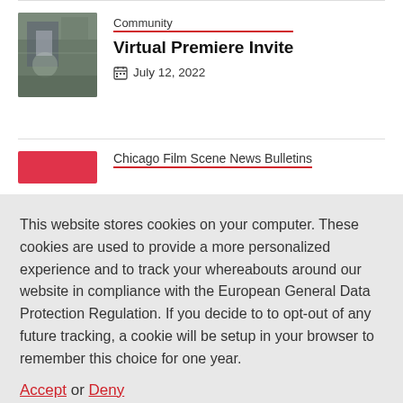[Figure (photo): Thumbnail image of a person inside a vehicle, viewed from inside looking out through windows]
Community
Virtual Premiere Invite
July 12, 2022
Chicago Film Scene News Bulletins
This website stores cookies on your computer. These cookies are used to provide a more personalized experience and to track your whereabouts around our website in compliance with the European General Data Protection Regulation. If you decide to to opt-out of any future tracking, a cookie will be setup in your browser to remember this choice for one year.
Accept or Deny